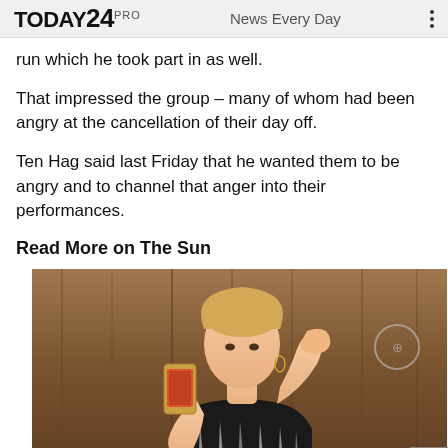TODAY24 PRO   News Every Day
run which he took part in as well.
That impressed the group – many of whom had been angry at the cancellation of their day off.
Ten Hag said last Friday that he wanted them to be angry and to channel that anger into their performances.
Read More on The Sun
[Figure (photo): A blonde woman taking a mirror selfie, wearing a strapless black and white outfit, holding a phone with a decorative case, with one hand raised to her head. Background is wooden paneling.]